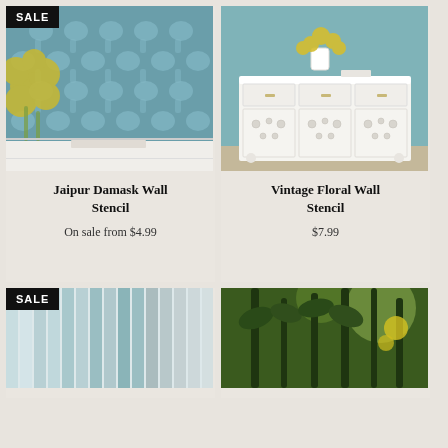[Figure (photo): Jaipur Damask Wall Stencil product photo showing a blue/teal decorative damask pattern on a wall with yellow flowers in foreground]
SALE
Jaipur Damask Wall Stencil
On sale from $4.99
[Figure (photo): Vintage Floral Wall Stencil product photo showing a white cabinet with floral stencil pattern against teal wall with yellow flowers]
Vintage Floral Wall Stencil
$7.99
SALE
[Figure (photo): Striped pattern stencil product photo showing vertical stripes in light blue and grey tones]
[Figure (photo): Garden stencil product photo showing outdoor garden scene with dark foliage and plants]